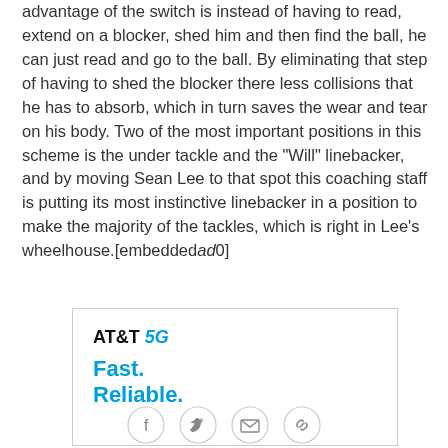advantage of the switch is instead of having to read, extend on a blocker, shed him and then find the ball, he can just read and go to the ball. By eliminating that step of having to shed the blocker there less collisions that he has to absorb, which in turn saves the wear and tear on his body. Two of the most important positions in this scheme is the under tackle and the "Will" linebacker, and by moving Sean Lee to that spot this coaching staff is putting its most instinctive linebacker in a position to make the majority of the tackles, which is right in Lee's wheelhouse.[embeddedad0]
[Figure (other): AT&T 5G advertisement banner showing 'Fast. Reliable.' tagline in blue text]
[Figure (other): Social sharing buttons: Facebook, Twitter, Email, Link]